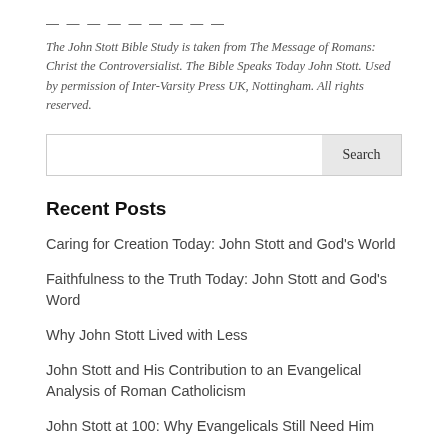— — — — — — — — —
The John Stott Bible Study is taken from The Message of Romans: Christ the Controversialist. The Bible Speaks Today John Stott. Used by permission of Inter-Varsity Press UK, Nottingham. All rights reserved.
Recent Posts
Caring for Creation Today: John Stott and God's World
Faithfulness to the Truth Today: John Stott and God's Word
Why John Stott Lived with Less
John Stott and His Contribution to an Evangelical Analysis of Roman Catholicism
John Stott at 100: Why Evangelicals Still Need Him